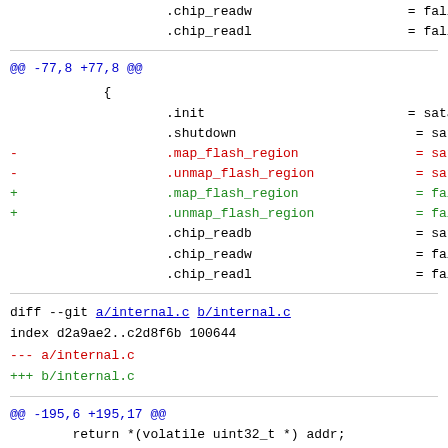.chip_readw                    = fallback_chi
                    .chip_readl                    = fallback_chi
@@ -77,8 +77,8 @@
{
                    .init                          = satasii_init
                    .shutdown                       = satasii_shut
-                   .map_flash_region               = satasii_map_
-                   .unmap_flash_region             = satasii_unma
+                   .map_flash_region               = fallback_map
+                   .unmap_flash_region             = fallback_unm
                    .chip_readb                     = satasii_chip
                    .chip_readw                     = fallback_chi
                    .chip_readl                     = fallback_chi
diff --git a/internal.c b/internal.c
index d2a9ae2..c2d8f6b 100644
--- a/internal.c
+++ b/internal.c
@@ -195,6 +195,17 @@
        return *(volatile uint32_t *) addr;
 }